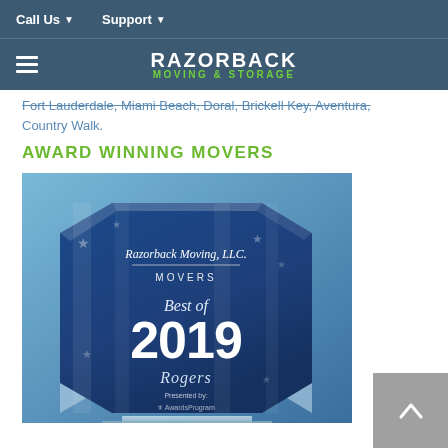Call Us  ▾   Support  ▾
RAZORBACK MOVING & STORAGE
Fort Lauderdale, Miami Beach, Doral, Brickell Key, Aventura, Country Walk.
AWARD WINNING MOVERS
[Figure (photo): Crystal glass award plaque with octagonal blue face showing stars and stripes pattern. Text reads: Razorback Moving, LLC. MOVERS Best of 2019 Rogers Presented by Awards Program]